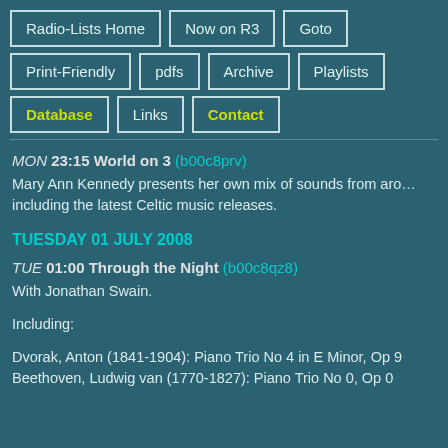Radio-Lists Home
Now on R3
Goto
Print-Friendly
pdfs
Archive
Playlists
Database
Links
Contact
TUESDAY 01 JULY 2008
MON 23:15 World on 3 (b00c8prv) Mary Ann Kennedy presents her own mix of sounds from around the world, including the latest Celtic music releases.
TUE 01:00 Through the Night (b00c8qz8) With Jonathan Swain. Including: Dvorak, Anton (1841-1904): Piano Trio No 4 in E Minor, Op 9 Beethoven, Ludwig van (1770-1827): Piano Trio No 0, Op 0